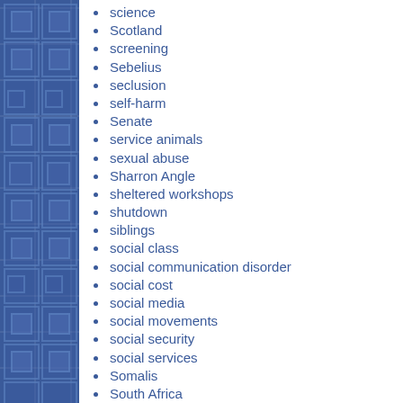science
Scotland
screening
Sebelius
seclusion
self-harm
Senate
service animals
sexual abuse
Sharron Angle
sheltered workshops
shutdown
siblings
social class
social communication disorder
social cost
social media
social movements
social security
social services
Somalis
South Africa